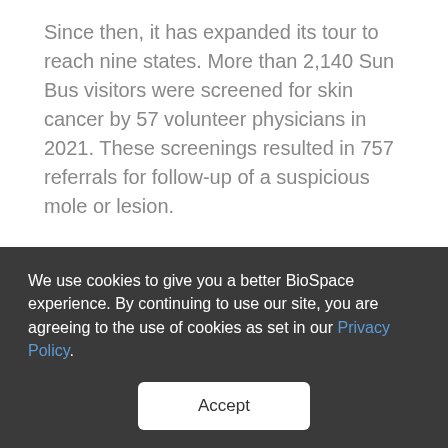Since then, it has expanded its tour to reach nine states. More than 2,140 Sun Bus visitors were screened for skin cancer by 57 volunteer physicians in 2021. These screenings resulted in 757 referrals for follow-up of a suspicious mole or lesion.
About Castle Biosciences
Castle Biosciences (Nasdaq: CSTL) is a leading diagnostics company improving health through
We use cookies to give you a better BioSpace experience. By continuing to use our site, you are agreeing to the use of cookies as set in our Privacy Policy.